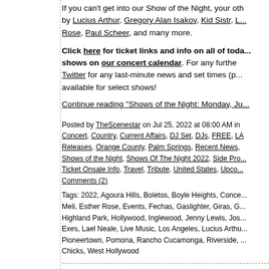If you can't get into our Show of the Night, your other options include shows by Lucius Arthur, Gregory Alan Isakov, Kid Sistr, L... Rose, Paul Scheer, and many more.
Click here for ticket links and info on all of today's shows on our concert calendar. For any further... Twitter for any last-minute news and set times (p... available for select shows!
Continue reading "Shows of the Night: Monday, Ju..."
Posted by TheScenestar on Jul 25, 2022 at 08:00 AM in Concert, Country, Current Affairs, DJ Set, DJs, FREE, LA Releases, Orange County, Palm Springs, Recent News, Shows of the Night, Shows Of The Night 2022, Side Pro... Ticket Onsale Info, Travel, Tribute, United States, Upco... Comments (2)
Tags: 2022, Agoura Hills, Boletos, Boyle Heights, Conce... Meli, Esther Rose, Events, Fechas, Gaslighter, Giras, G... Highland Park, Hollywood, Inglewood, Jenny Lewis, Jos... Exes, Lael Neale, Live Music, Los Angeles, Lucius Arthu... Pioneertown, Pomona, Rancho Cucamonga, Riverside, ... Chicks, West Hollywood
Shows of the Night: Tuesday...
[Figure (photo): Red background image with a dark silhouette figure at bottom center]